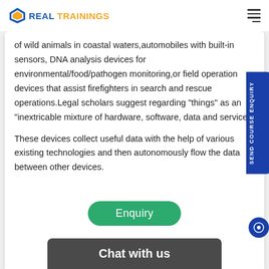REAL TRAININGS
of wild animals in coastal waters,automobiles with built-in sensors, DNA analysis devices for environmental/food/pathogen monitoring,or field operation devices that assist firefighters in search and rescue operations.Legal scholars suggest regarding "things" as an "inextricable mixture of hardware, software, data and service".
These devices collect useful data with the help of various existing technologies and then autonomously flow the data between other devices.
Enquiry
Chat with us